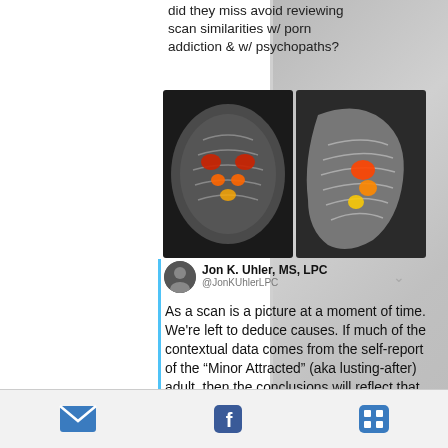did they miss avoid reviewing scan similarities w/ porn addiction & w/ psychopaths?
[Figure (photo): Two brain scan images showing highlighted activation areas in orange/red on gray brain anatomy]
Jon K. Uhler, MS, LPC
@JonKUhlerLPC
As a scan is a picture at a moment of time. We're left to deduce causes. If much of the contextual data comes from the self-report of the "Minor Attracted" (aka lusting-after) adult, then the conclusions will reflect that information. But, what if he omits his porn addiction?
[Figure (photo): Man in suit pointing fingers, and 'DARK WEB' text graphic in blue on dark background]
Email icon | Facebook icon | Menu grid icon